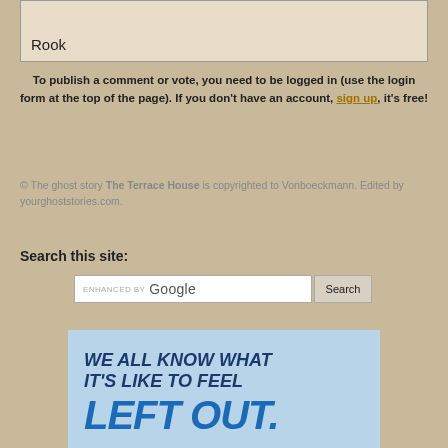| Rook |
To publish a comment or vote, you need to be logged in (use the login form at the top of the page). If you don't have an account, sign up, it's free!
© The ghost story The Terrace House is copyrighted to Vonboeckmann. Edited by yourghoststories.com.
Search this site:
[Figure (screenshot): Google custom search bar with 'enhanced by Google' label and Search button]
[Figure (infographic): Light blue ad banner with bold italic text: WE ALL KNOW WHAT IT'S LIKE TO FEEL LEFT OUT.]